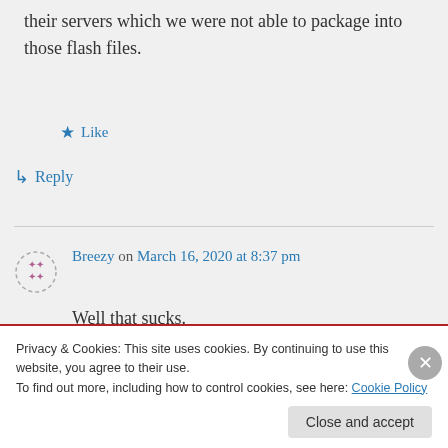their servers which we were not able to package into those flash files.
★ Like
↳ Reply
Breezy on March 16, 2020 at 8:37 pm
Well that sucks.
★ Like
Privacy & Cookies: This site uses cookies. By continuing to use this website, you agree to their use.
To find out more, including how to control cookies, see here: Cookie Policy
Close and accept